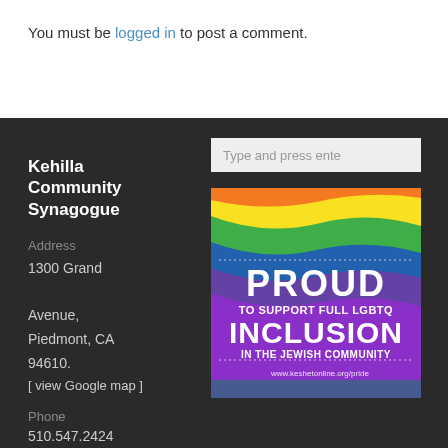You must be logged in to post a comment.
Kehilla Community Synagogue
Address
1300 Grand Avenue, Piedmont, CA 94610.
[ view Google map ]
Phone
510.547.2424
[Figure (infographic): Keshet pride banner: rainbow wave background with text PROUD TO SUPPORT FULL LGBTQ INCLUSION IN THE JEWISH COMMUNITY, www.keshetonline.org/pride]